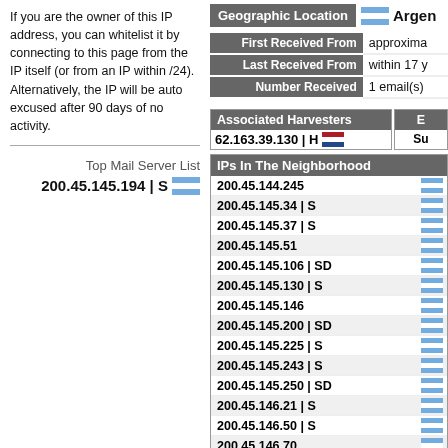If you are the owner of this IP address, you can whitelist it by connecting to this page from the IP itself (or from an IP within /24). Alternatively, the IP will be auto excused after 90 days of no activity.
Top Mail Server List
200.45.145.194 | S
| Geographic Location | Argentina |
| --- | --- |
| First Received From | approxima... |
| Last Received From | within 17 y... |
| Number Received | 1 email(s) |
| Associated Harvesters | E... |
| --- | --- |
| 62.163.39.130 | H | Su... |
| IPs In The Neighborhood |
| --- |
| 200.45.144.245 |
| 200.45.145.34 | S |
| 200.45.145.37 | S |
| 200.45.145.51 |
| 200.45.145.106 | SD |
| 200.45.145.130 | S |
| 200.45.145.146 |
| 200.45.145.200 | SD |
| 200.45.145.225 | S |
| 200.45.145.243 | S |
| 200.45.145.250 | SD |
| 200.45.146.21 | S |
| 200.45.146.50 | S |
| 200.45.146.70 |
| 200.45.146.91 |